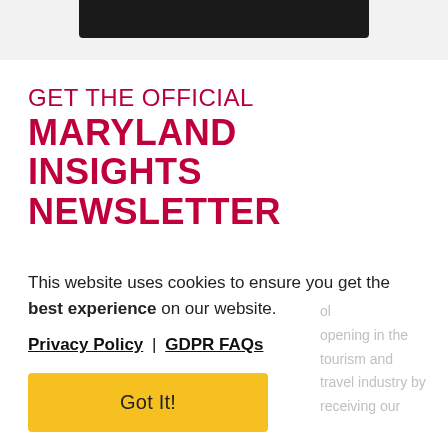[Figure (screenshot): Dark navigation bar at top of page]
GET THE OFFICIAL MARYLAND INSIGHTS NEWSLETTER
This website uses cookies to ensure you get the best experience on our website.
Privacy Policy | GDPR FAQs
Got It!